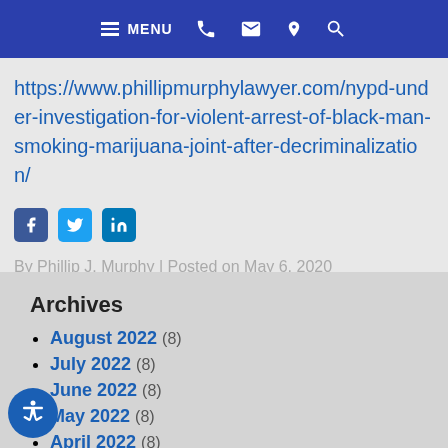MENU
https://www.phillipmurphylawyer.com/nypd-under-investigation-for-violent-arrest-of-black-man-smoking-marijuana-joint-after-decriminalization/
[Figure (other): Social sharing icons: Facebook, Twitter, LinkedIn]
By Phillip J. Murphy | Posted on May 6, 2020
Archives
August 2022 (8)
July 2022 (8)
June 2022 (8)
May 2022 (8)
April 2022 (8)